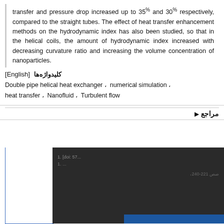transfer and pressure drop increased up to 35% and 30% respectively, compared to the straight tubes. The effect of heat transfer enhancement methods on the hydrodynamic index has also been studied, so that in the helical coils, the amount of hydrodynamic index increased with decreasing curvature ratio and increasing the volume concentration of nanoparticles.
کلیدواژه‌ها [English]
Double pipe helical heat exchanger، numerical simulation، heat transfer، Nanofluid، Turbulent flow
مراجع
[Figure (screenshot): Cookie consent popup overlay on a dark background showing Persian text about cookies usage with a yellow confirmation button labeled 'متوجه شدم']